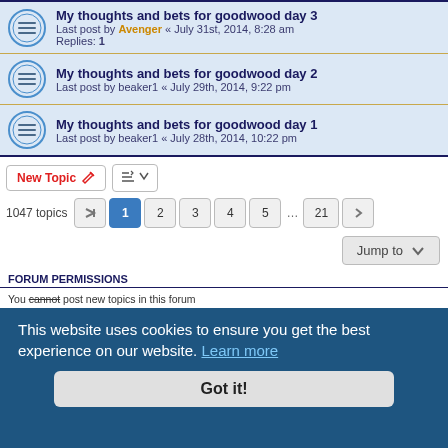My thoughts and bets for goodwood day 3 — Last post by Avenger « July 31st, 2014, 8:28 am — Replies: 1
My thoughts and bets for goodwood day 2 — Last post by beaker1 « July 29th, 2014, 9:22 pm
My thoughts and bets for goodwood day 1 — Last post by beaker1 « July 28th, 2014, 10:22 pm
New Topic  |  Sort  |  1047 topics  |  Pages: 1 2 3 4 5 ... 21
Jump to
FORUM PERMISSIONS
You cannot post new topics in this forum
You cannot edit your posts in this forum
This website uses cookies to ensure you get the best experience on our website. Learn more
Got it!
UTC+01:00